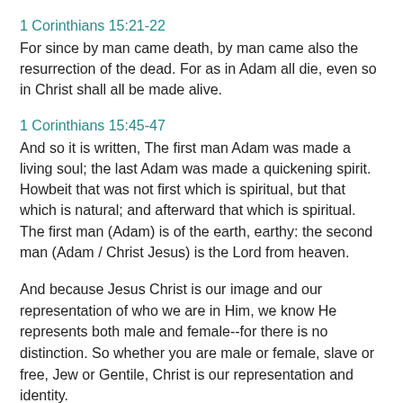1 Corinthians 15:21-22
For since by man came death, by man came also the resurrection of the dead. For as in Adam all die, even so in Christ shall all be made alive.
1 Corinthians 15:45-47
And so it is written, The first man Adam was made a living soul; the last Adam was made a quickening spirit. Howbeit that was not first which is spiritual, but that which is natural; and afterward that which is spiritual. The first man (Adam) is of the earth, earthy: the second man (Adam / Christ Jesus) is the Lord from heaven.
And because Jesus Christ is our image and our representation of who we are in Him, we know He represents both male and female--for there is no distinction. So whether you are male or female, slave or free, Jew or Gentile, Christ is our representation and identity.
Jesus embodied the fullness of emotions and feelings